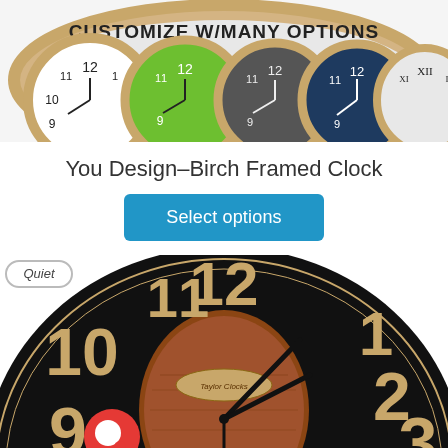[Figure (photo): Product photo showing multiple colorful clock faces with text 'CUSTOMIZE W/MANY OPTIONS' above them, set in birch frames]
You Design–Birch Framed Clock
[Figure (other): Blue 'Select options' button]
[Figure (photo): Close-up photo of a large black and gold vintage-style clock face with wooden center, showing 'Quiet' badge and chat icon overlay]